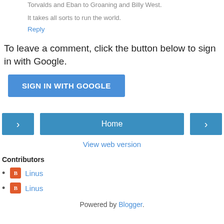Torvalds and Eban to Groaning and Billy West.
It takes all sorts to run the world.
Reply
To leave a comment, click the button below to sign in with Google.
SIGN IN WITH GOOGLE
Home
View web version
Contributors
Linus
Linus
Powered by Blogger.